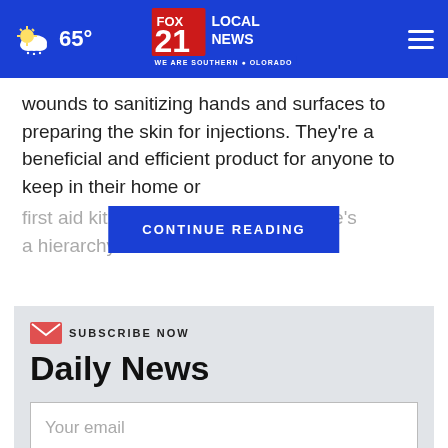FOX 21 LOCAL NEWS – WE ARE SOUTHERN COLORADO | 65°
wounds to sanitizing hands and surfaces to preparing the skin for injections. They're a beneficial and efficient product for anyone to keep in their home or first aid kit. Th… imilar, there's a hierarchy of … wo are
CONTINUE READING
SUBSCRIBE NOW
Daily News
Your email
SIGN UP NOW